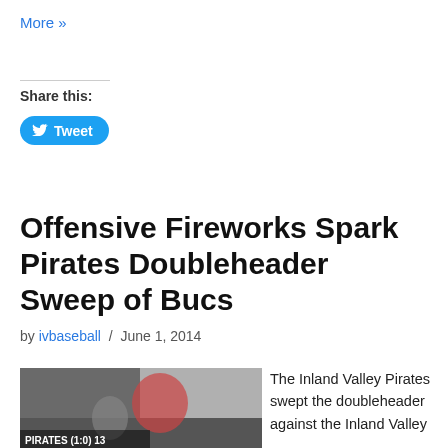More »
Share this:
Tweet
Offensive Fireworks Spark Pirates Doubleheader Sweep of Bucs
by ivbaseball / June 1, 2014
[Figure (photo): Baseball game photo showing a batter swinging at home plate with a catcher behind; caption reads PIRATES (1:0) 13]
The Inland Valley Pirates swept the doubleheader against the Inland Valley